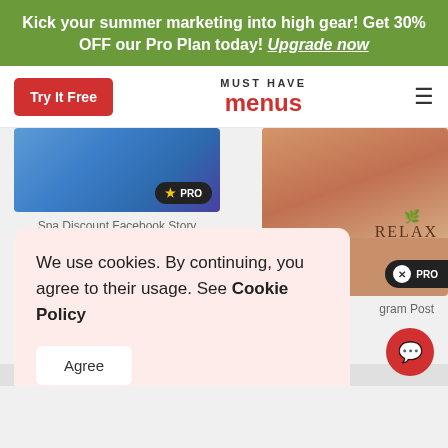Kick your summer marketing into high gear! Get 30% OFF our Pro Plan today! Upgrade now
[Figure (screenshot): Must Have Menus website navigation bar with Try It Free red button, Must Have Menus logo, and hamburger menu icon]
[Figure (screenshot): Spa Discount Facebook Story card with PRO badge]
Spa Discount Facebook Story
[Figure (photo): Spa massage photo with RELAX text and leaf icon, PRO badge]
gram Post
We use cookies. By continuing, you agree to their usage. See Cookie Policy
Agree